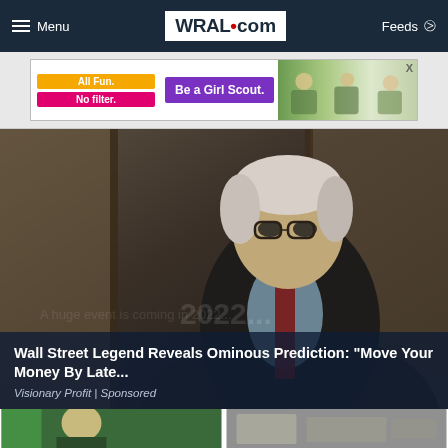Menu | WRAL.com | Feeds
[Figure (photo): Girl Scout advertisement banner: 'All Fun. No filter. Be a Girl Scout.' with image of children outdoors]
[Figure (photo): Older man in dark suit and glasses against dark background, sponsored financial content]
Wall Street Legend Reveals Ominous Prediction: "Move Your Money By Late...
Visionary Profit | Sponsored
[Figure (photo): Two thumbnail images at bottom: left shows person against green background, right shows rocky/stone surface]